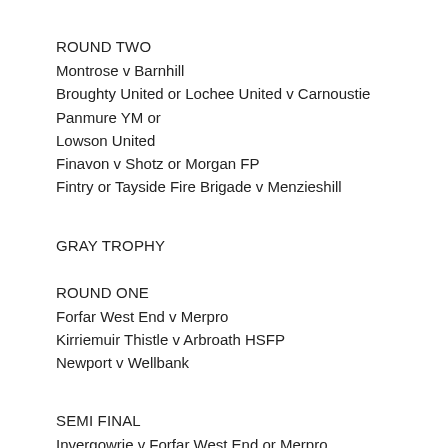ROUND TWO
Montrose v Barnhill
Broughty United or Lochee United v Carnoustie Panmure YM or Lowson United
Finavon v Shotz or Morgan FP
Fintry or Tayside Fire Brigade v Menzieshill
GRAY TROPHY
ROUND ONE
Forfar West End v Merpro
Kirriemuir Thistle v Arbroath HSFP
Newport v Wellbank
SEMI FINAL
Invergowrie v Forfar West End or Merpro
Newport or Wellbank v Kirriemuir Thistle or Arbroath HSFP